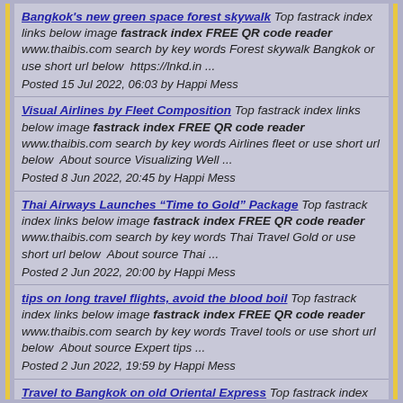Bangkok's new green space forest skywalk Top fastrack index links below image fastrack index FREE QR code reader www.thaibis.com search by key words Forest skywalk Bangkok or use short url below  https://lnkd.in ... Posted 15 Jul 2022, 06:03 by Happi Mess
Visual Airlines by Fleet Composition Top fastrack index links below image fastrack index FREE QR code reader   www.thaibis.com search by key words Airlines fleet or use short url below  About source Visualizing Well ... Posted 8 Jun 2022, 20:45 by Happi Mess
Thai Airways Launches “Time to Gold” Package Top fastrack index links below image fastrack index FREE QR code reader   www.thaibis.com search by key words Thai Travel Gold or use short url below  About source Thai ... Posted 2 Jun 2022, 20:00 by Happi Mess
tips on long travel flights, avoid the blood boil Top fastrack index links below image fastrack index FREE QR code reader www.thaibis.com search by key words Travel tools or use short url below  About source Expert tips ... Posted 2 Jun 2022, 19:59 by Happi Mess
Travel to Bangkok on old Oriental Express Top fastrack index links below image fastrack index FREE QR code reader